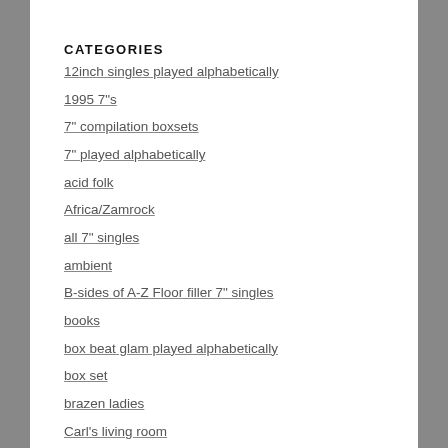CATEGORIES
12inch singles played alphabetically
1995 7"s
7" compilation boxsets
7" played alphabetically
acid folk
Africa/Zamrock
all 7" singles
ambient
B-sides of A-Z Floor filler 7" singles
books
box beat glam played alphabetically
box set
brazen ladies
Carl's living room
CD spinnin'